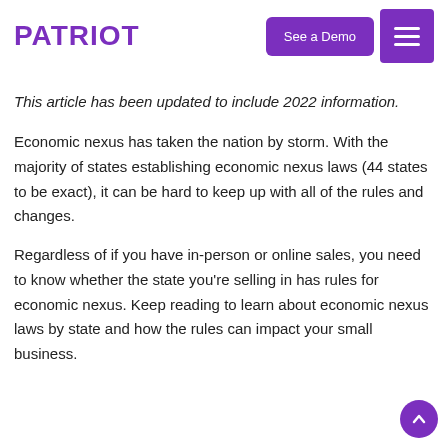PATRIOT | See a Demo | Menu
This article has been updated to include 2022 information.
Economic nexus has taken the nation by storm. With the majority of states establishing economic nexus laws (44 states to be exact), it can be hard to keep up with all of the rules and changes.
Regardless of if you have in-person or online sales, you need to know whether the state you're selling in has rules for economic nexus. Keep reading to learn about economic nexus laws by state and how the rules can impact your small business.